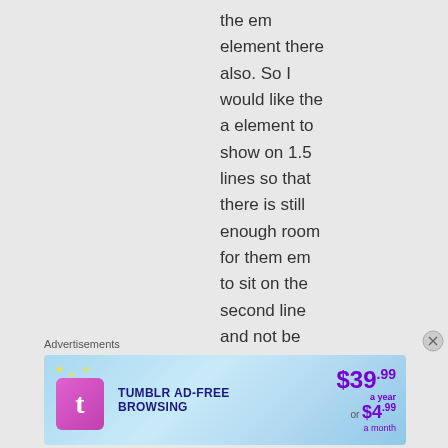the em element there also. So I would like the a element to show on 1.5 lines so that there is still enough room for them em to sit on the second line and not be
Advertisements
[Figure (infographic): Tumblr Ad-Free Browsing advertisement banner showing $39.99 a year or $4.99 a month pricing with Tumblr logo]